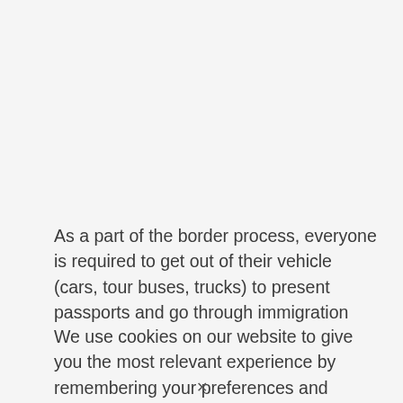As a part of the border process, everyone is required to get out of their vehicle (cars, tour buses, trucks) to present passports and go through immigration
We use cookies on our website to give you the most relevant experience by remembering your preferences and repeat visits. By clicking "Accept" you consent to the use